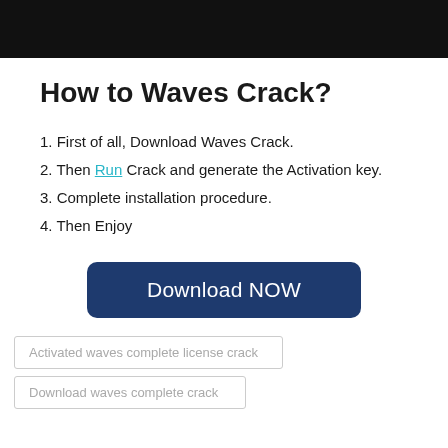[Figure (screenshot): Black bar at top of page representing a cropped screenshot/toolbar]
How to Waves Crack?
1. First of all, Download Waves Crack.
2. Then Run Crack and generate the Activation key.
3. Complete installation procedure.
4. Then Enjoy
[Figure (other): Dark blue Download NOW button]
Activated waves complete license crack
Download waves complete crack